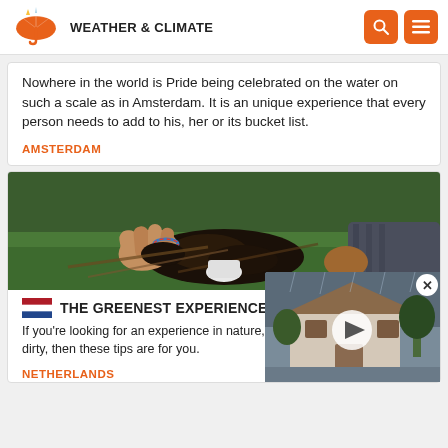WEATHER & CLIMATE
Nowhere in the world is Pride being celebrated on the water on such a scale as in Amsterdam. It is an unique experience that every person needs to add to his, her or its bucket list.
AMSTERDAM
[Figure (photo): Two people using their hands to handle dark soil or compost among green grass and plant debris outdoors.]
THE GREENEST EXPERIENCE OF AMSTERDAM
If you're looking for an experience in nature, that can help you go out dirty, then these tips are for you.
NETHERLANDS
[Figure (screenshot): Video overlay showing a rainy suburban house scene with a play button.]